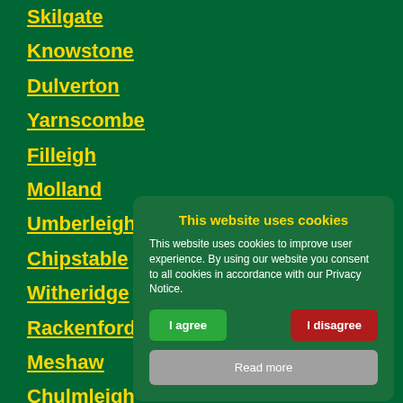Skilgate
Knowstone
Dulverton
Yarnscombe
Filleigh
Molland
Umberleigh
Chipstable
Witheridge
Rackenford
Meshaw
Chulmleigh
High Bickington
Beaford
This website uses cookies
This website uses cookies to improve user experience. By using our website you consent to all cookies in accordance with our Privacy Notice.
I agree  I disagree
Read more